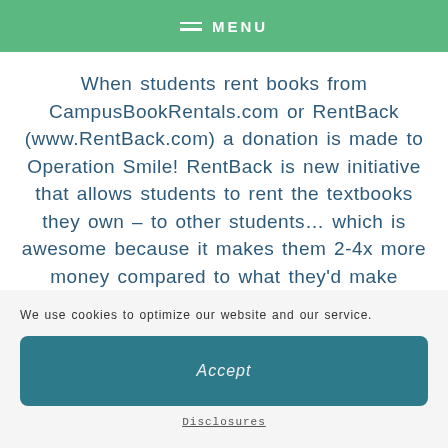MENU
When students rent books from CampusBookRentals.com or RentBack (www.RentBack.com) a donation is made to Operation Smile! RentBack is new initiative that allows students to rent the textbooks they own – to other students... which is awesome because it makes them 2-4x more money compared to what they'd make
We use cookies to optimize our website and our service.
Accept
Disclosures